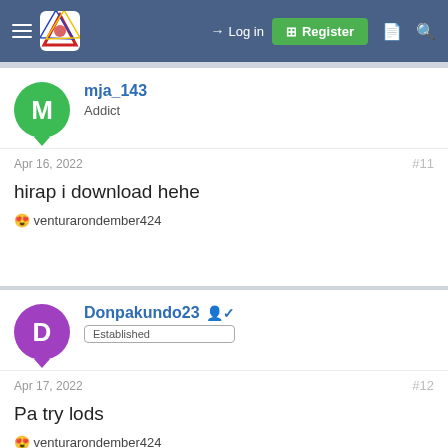Log in | Register
mja_143 | Addict
Apr 16, 2022 | #11
hirap i download hehe
😍 venturarondember424
Donpakundo23 | Established
Apr 17, 2022 | #12
Pa try lods
😍 venturarondember424